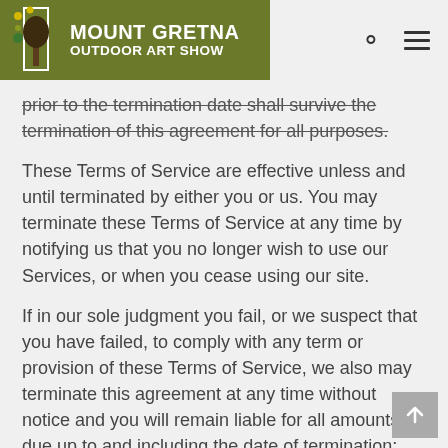MOUNT GRETNA OUTDOOR ART SHOW
prior to the termination date shall survive the termination of this agreement for all purposes.
These Terms of Service are effective unless and until terminated by either you or us. You may terminate these Terms of Service at any time by notifying us that you no longer wish to use our Services, or when you cease using our site.
If in our sole judgment you fail, or we suspect that you have failed, to comply with any term or provision of these Terms of Service, we also may terminate this agreement at any time without notice and you will remain liable for all amounts due up to and including the date of termination; and/or accordingly may deny you access to our Services (or any part thereof).
Entire Agreement